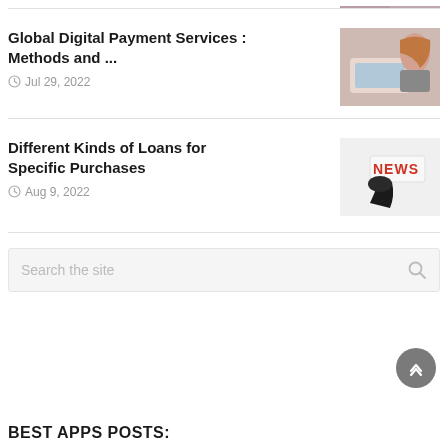[Figure (photo): Partial photo visible at top right corner of page]
Global Digital Payment Services : Methods and ...
Jul 29, 2022
[Figure (photo): Woman using tablet at counter, payment services context]
Different Kinds of Loans for Specific Purchases
Aug 9, 2022
[Figure (photo): Hand holding a NEWS sign/block]
Search the site
BEST APPS POSTS: